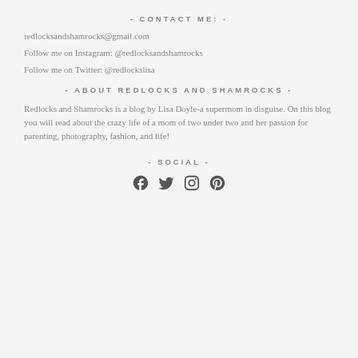- CONTACT ME: -
redlocksandshamrocks@gmail.com
Follow me on Instagram: @redlocksandshamrocks
Follow me on Twitter: @redlockslisa
- ABOUT REDLOCKS AND SHAMROCKS -
Redlocks and Shamrocks is a blog by Lisa Doyle-a supermom in disguise. On this blog you will read about the crazy life of a mom of two under two and her passion for parenting, photography, fashion, and life!
- SOCIAL -
[Figure (other): Social media icons: Facebook, Twitter, Instagram, Pinterest]